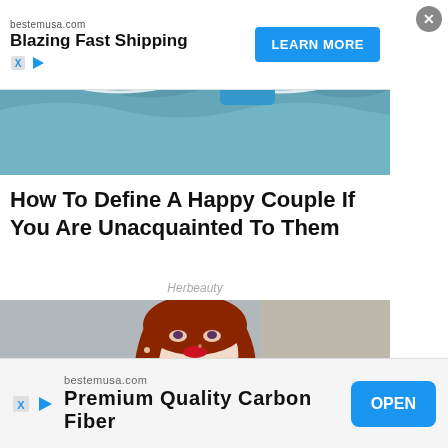[Figure (photo): Advertisement banner with text 'bestemusa.com Blazing Fast Shipping' and a blue 'LEARN MORE' button, with ad icons below the text]
[Figure (photo): Beach scene showing two people standing in ocean waves, one in a blue dress]
How To Define A Happy Couple If You Are Unacquainted To Them
Herbeauty
[Figure (photo): Portrait of a plus-size woman with auburn/red wavy hair, wearing red lipstick and a gray sparkly top, posing against a gray textured background]
[Figure (photo): Bottom advertisement banner: bestemusa.com, Premium Quality Carbon Fiber, with a blue OPEN button and ad icons on the left]